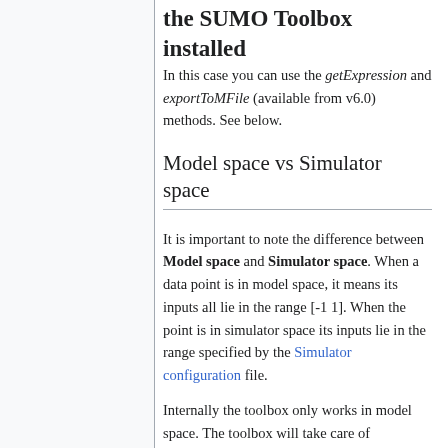the SUMO Toolbox installed
In this case you can use the getExpression and exportToMFile (available from v6.0) methods. See below.
Model space vs Simulator space
It is important to note the difference between Model space and Simulator space. When a data point is in model space, it means its inputs all lie in the range [-1 1]. When the point is in simulator space its inputs lie in the range specified by the Simulator configuration file.
Internally the toolbox only works in model space. The toolbox will take care of translating points from simulator space into model space and back (this happens in the SampleManager object). You will note that many methods have a XXXinModelSpace variant. This just means that the method does exactly the same, except it expects points to be in model space. You should normally not have to care about model